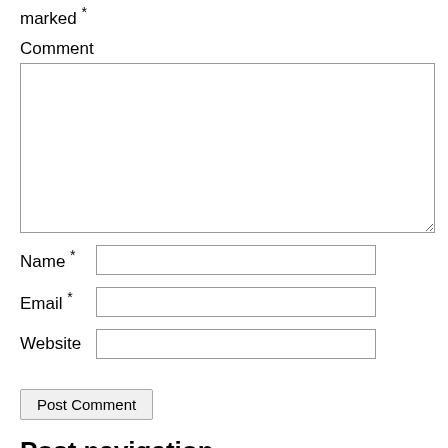marked *
Comment
Name *
Email *
Website
Post Comment
Post navigation
Previous PostPrevious
[Figure (photo): Partial view of a dark colored pen or marker at the bottom of the page]